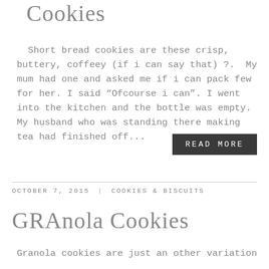Cookies
Short bread cookies are these crisp, buttery, coffeey (if i can say that) ?. My mum had one and asked me if i can pack few for her. I said “Ofcourse i can”. I went into the kitchen and the bottle was empty. My husband who was standing there making tea had finished off...
READ MORE
OCTOBER 7, 2015 | COOKIES & BISCUITS
GRAnola Cookies
Granola cookies are just an other variation